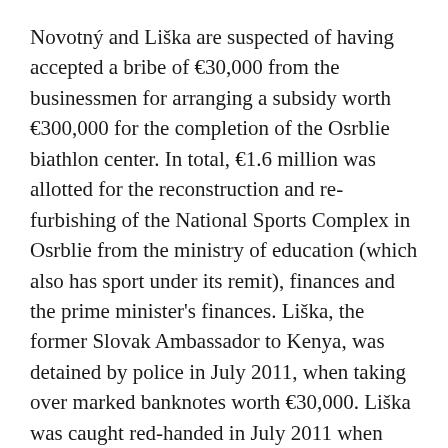Novotný and Liška are suspected of having accepted a bribe of €30,000 from the businessmen for arranging a subsidy worth €300,000 for the completion of the Osrblie biathlon center. In total, €1.6 million was allotted for the reconstruction and re-furbishing of the National Sports Complex in Osrblie from the ministry of education (which also has sport under its remit), finances and the prime minister's finances. Liška, the former Slovak Ambassador to Kenya, was detained by police in July 2011, when taking over marked banknotes worth €30,000. Liška was caught red-handed in July 2011 when taking the bribe at the office of Novotný who was visiting the US at that time, Sme wrote.
The TASR newswire wrote that Novotný and Liška face three years in prison, while the businessmen